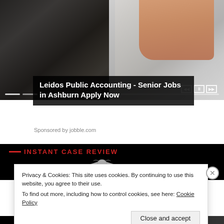[Figure (photo): Photo of hands on a calculator with a laptop and financial charts on a desk, with media playback controls and a progress bar overlay]
Leidos Public Accounting - Senior Jobs in Ashburn Apply Now
Sponsored by jobble.com
[Figure (photo): Black banner with red text 'INSTANT CASE REVIEW' and a decorative eagle emblem on a dark background]
Privacy & Cookies: This site uses cookies. By continuing to use this website, you agree to their use.
To find out more, including how to control cookies, see here: Cookie Policy
Close and accept